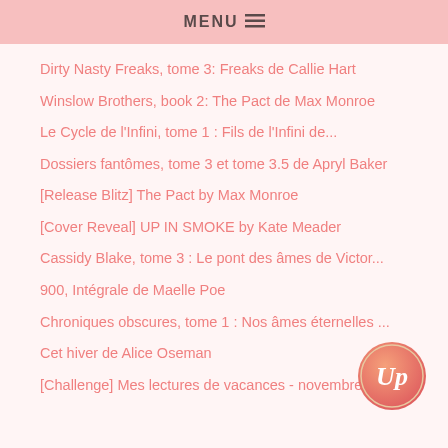MENU
Dirty Nasty Freaks, tome 3: Freaks de Callie Hart
Winslow Brothers, book 2: The Pact de Max Monroe
Le Cycle de l'Infini, tome 1 : Fils de l'Infini de...
Dossiers fantômes, tome 3 et tome 3.5 de Apryl Baker
[Release Blitz] The Pact by Max Monroe
[Cover Reveal] UP IN SMOKE by Kate Meader
Cassidy Blake, tome 3 : Le pont des âmes de Victor...
900, Intégrale de Maelle Poe
Chroniques obscures, tome 1 : Nos âmes éternelles ...
Cet hiver de Alice Oseman
[Challenge] Mes lectures de vacances - novembre 2021
[Figure (logo): Circular pink/gold logo with cursive 'Up' text]